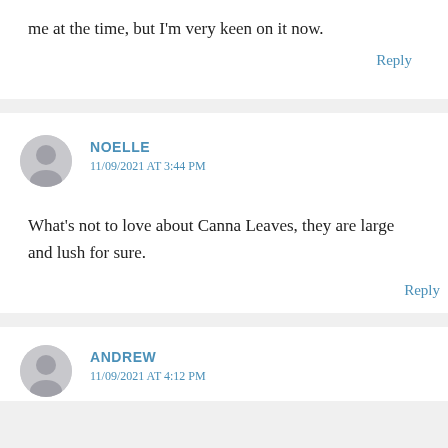me at the time, but I'm very keen on it now.
Reply
NOELLE
11/09/2021 AT 3:44 PM
What's not to love about Canna Leaves, they are large and lush for sure.
Reply
ANDREW
11/09/2021 AT 4:12 PM